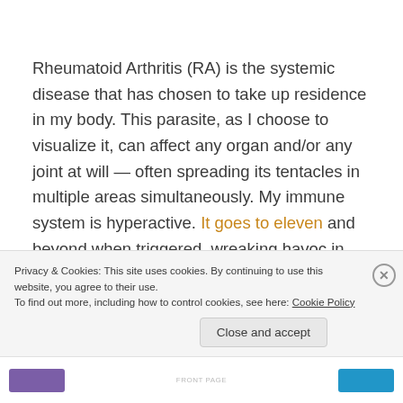Rheumatoid Arthritis (RA) is the systemic disease that has chosen to take up residence in my body. This parasite, as I choose to visualize it, can affect any organ and/or any joint at will — often spreading its tentacles in multiple areas simultaneously. My immune system is hyperactive. It goes to eleven and beyond when triggered, wreaking havoc in the process. People with RA are more susceptible to catching a virus, developing infections, and experiencing cardiorespiratory
Privacy & Cookies: This site uses cookies. By continuing to use this website, you agree to their use.
To find out more, including how to control cookies, see here: Cookie Policy
Close and accept